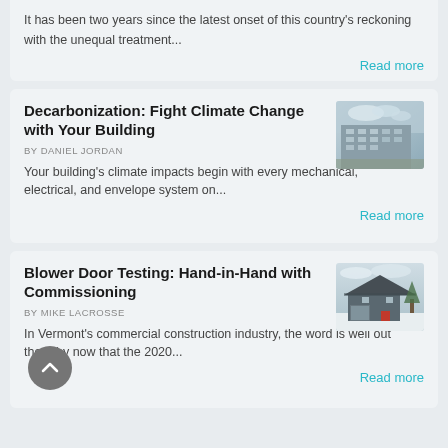It has been two years since the latest onset of this country's reckoning with the unequal treatment...
Read more
Decarbonization: Fight Climate Change with Your Building
BY DANIEL JORDAN
Your building's climate impacts begin with every mechanical, electrical, and envelope system on...
Read more
[Figure (photo): Exterior photo of a multi-story building with grey facade]
Blower Door Testing: Hand-in-Hand with Commissioning
BY MIKE LACROSSE
In Vermont's commercial construction industry, the word is well out there by now that the 2020...
Read more
[Figure (photo): Exterior photo of a modern house in snow with red door]